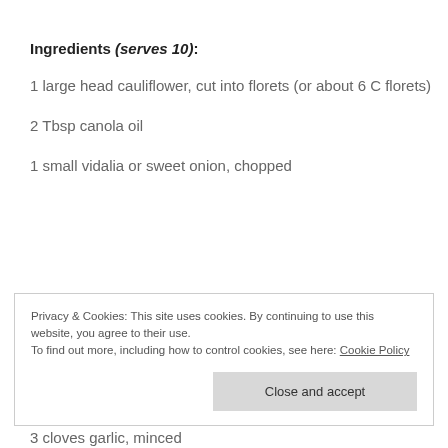Ingredients (serves 10):
1 large head cauliflower, cut into florets (or about 6 C florets)
2 Tbsp canola oil
1 small vidalia or sweet onion, chopped
Privacy & Cookies: This site uses cookies. By continuing to use this website, you agree to their use.
To find out more, including how to control cookies, see here: Cookie Policy
3 cloves garlic, minced